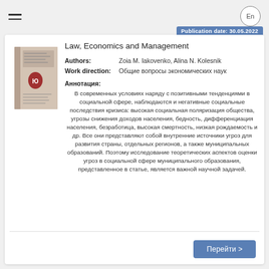En
Publication date: 30.05.2022
[Figure (photo): Book cover image for 'Law, Economics and Management']
Law, Economics and Management
Authors: Zoia M. Iakovenko, Alina N. Kolesnik
Work direction: Общие вопросы экономических наук
Аннотация: В современных условиях наряду с позитивными тенденциями в социальной сфере, наблюдаются и негативные социальные последствия кризиса: высокая социальная поляризация общества, угрозы снижения доходов населения, бедность, дифференциация населения, безработица, высокая смертность, низкая рождаемость и др. Все они представляют собой внутренние источники угроз для развития страны, отдельных регионов, а также муниципальных образований. Поэтому исследование теоретических аспектов оценки угроз в социальной сфере муниципального образования, представленное в статье, является важной научной задачей.
Перейти >